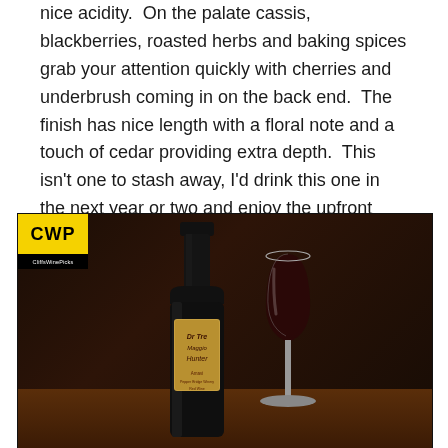nice acidity. On the palate cassis, blackberries, roasted herbs and baking spices grab your attention quickly with cherries and underbrush coming in on the back end. The finish has nice length with a floral note and a touch of cedar providing extra depth. This isn't one to stash away, I'd drink this one in the next year or two and enjoy the upfront fruit. This has 15.0% alcohol and the bottle is sealed with a natural cork. (89 pts)
[Figure (photo): Photo of a dark wine bottle with an ornate label and a stemmed wine glass filled with red wine, both sitting on a wooden table. A CWP (CliffsWinePicks) logo badge appears in the top-left corner of the image.]